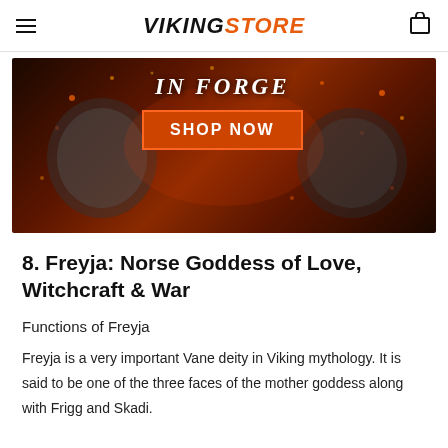VIKINGSTORE
[Figure (infographic): Viking jewelry banner with dark fiery background showing silver bracelets and leather bracelets. Text reads IN FORGE with SHOP NOW button in orange/red.]
8. Freyja: Norse Goddess of Love, Witchcraft & War
Functions of Freyja
Freyja is a very important Vane deity in Viking mythology. It is said to be one of the three faces of the mother goddess along with Frigg and Skadi.